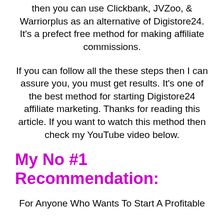then you can use Clickbank, JVZoo, & Warriorplus as an alternative of Digistore24. It's a prefect free method for making affiliate commissions.
If you can follow all the these steps then I can assure you, you must get results. It's one of the best method for starting Digistore24 affiliate marketing. Thanks for reading this article. If you want to watch this method then check my YouTube video below.
My No #1 Recommendation:
For Anyone Who Wants To Start A Profitable